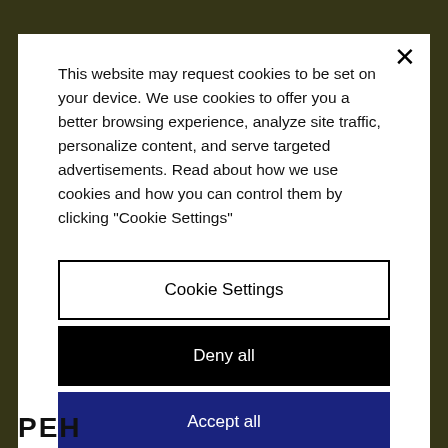This website may request cookies to be set on your device. We use cookies to offer you a better browsing experience, analyze site traffic, personalize content, and serve targeted advertisements. Read about how we use cookies and how you can control them by clicking "Cookie Settings"
Cookie Settings
Deny all
Accept all